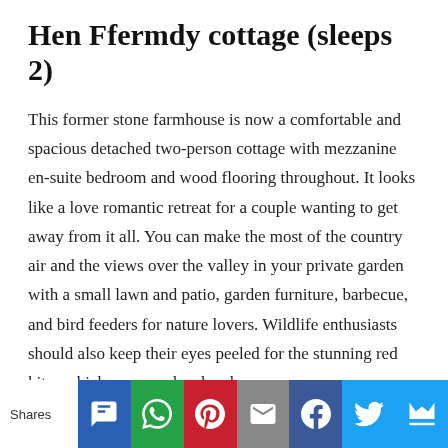Hen Ffermdy cottage (sleeps 2)
This former stone farmhouse is now a comfortable and spacious detached two-person cottage with mezzanine en-suite bedroom and wood flooring throughout. It looks like a love romantic retreat for a couple wanting to get away from it all. You can make the most of the country air and the views over the valley in your private garden with a small lawn and patio, garden furniture, barbecue, and bird feeders for nature lovers. Wildlife enthusiasts should also keep their eyes peeled for the stunning red kites which soar overhead and
Shares [SMS] [WhatsApp] [Pinterest] [Email] [Facebook] [Twitter] [More]